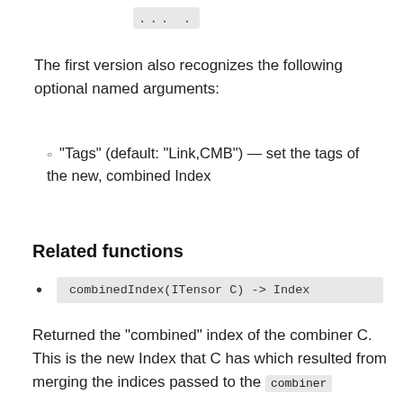... .
The first version also recognizes the following optional named arguments:
"Tags" (default: "Link,CMB") — set the tags of the new, combined Index
Related functions
combinedIndex(ITensor C) -> Index
Returned the "combined" index of the combiner C. This is the new Index that C has which resulted from merging the indices passed to the combiner function.